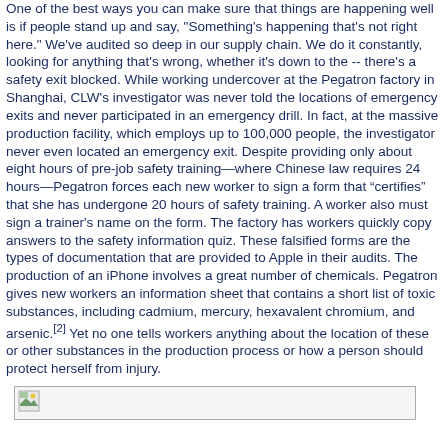One of the best ways you can make sure that things are happening well is if people stand up and say, "Something's happening that's not right here." We've audited so deep in our supply chain. We do it constantly, looking for anything that's wrong, whether it's down to the -- there's a safety exit blocked.
While working undercover at the Pegatron factory in Shanghai, CLW's investigator was never told the locations of emergency exits and never participated in an emergency drill. In fact, at the massive production facility, which employs up to 100,000 people, the investigator never even located an emergency exit.
Despite providing only about eight hours of pre-job safety training—where Chinese law requires 24 hours—Pegatron forces each new worker to sign a form that “certifies” that she has undergone 20 hours of safety training. A worker also must sign a trainer's name on the form. The factory has workers quickly copy answers to the safety information quiz. These falsified forms are the types of documentation that are provided to Apple in their audits.
The production of an iPhone involves a great number of chemicals. Pegatron gives new workers an information sheet that contains a short list of toxic substances, including cadmium, mercury, hexavalent chromium, and arsenic.[2] Yet no one tells workers anything about the location of these or other substances in the production process or how a person should protect herself from injury.
[Figure (other): Small image placeholder icon shown at the bottom of the text]